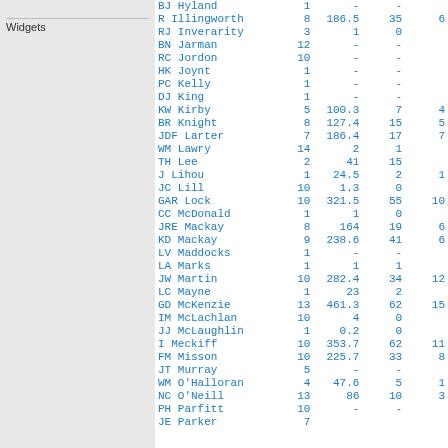Widgets
| Name | Col1 | Col2 | Col3 | Col4 |
| --- | --- | --- | --- | --- |
| BJ Hyland | 1 | - | - |  |
| R Illingworth | 8 | 186.5 | 35 | 6 |
| RJ Inverarity | 3 | 1 | 0 |  |
| BN Jarman | 12 | - | - |  |
| RC Jordon | 10 | - | - |  |
| HK Joynt | 1 | - | - |  |
| PC Kelly | 1 | - | - |  |
| DJ King | 1 | - | - |  |
| KW Kirby | 5 | 100.3 | 7 | 4 |
| BR Knight | 8 | 127.4 | 15 | 5 |
| JDF Larter | 7 | 186.4 | 17 | 7 |
| WM Lawry | 14 | 2 | 1 |  |
| TH Lee | 2 | 41 | 15 |  |
| J Lihou | 1 | 24.5 | 2 | 1 |
| JC Lill | 10 | 1.3 | 0 |  |
| GAR Lock | 10 | 321.5 | 55 | 10 |
| CC McDonald | 1 | 1 | 0 |  |
| JRE Mackay | 8 | 164 | 19 | 6 |
| KD Mackay | 9 | 238.6 | 41 | 6 |
| LV Maddocks | 1 | - | - |  |
| LA Marks | 1 | 1 | 1 |  |
| JW Martin | 10 | 282.4 | 34 | 12 |
| LC Mayne | 1 | 23 | 2 |  |
| GD McKenzie | 13 | 461.3 | 62 | 15 |
| IM McLachlan | 10 | 4 | 0 |  |
| JJ McLaughlin | 1 | 0.2 | 0 |  |
| I Meckiff | 10 | 353.7 | 62 | 11 |
| FM Misson | 10 | 225.7 | 33 | 8 |
| JT Murray | 5 | - | - |  |
| WM O'Halloran | 4 | 47.6 | 5 | 1 |
| NC O'Neill | 13 | 86 | 10 | 3 |
| PH Parfitt | 10 | - | - |  |
| JE Parker | 7 |  |  |  |